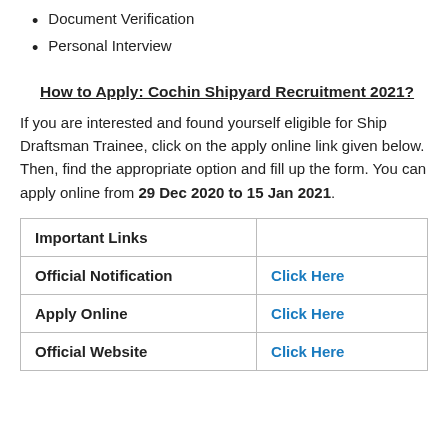Document Verification
Personal Interview
How to Apply: Cochin Shipyard Recruitment 2021?
If you are interested and found yourself eligible for Ship Draftsman Trainee, click on the apply online link given below. Then, find the appropriate option and fill up the form. You can apply online from 29 Dec 2020 to 15 Jan 2021.
| Important Links |  |
| --- | --- |
| Official Notification | Click Here |
| Apply Online | Click Here |
| Official Website | Click Here |